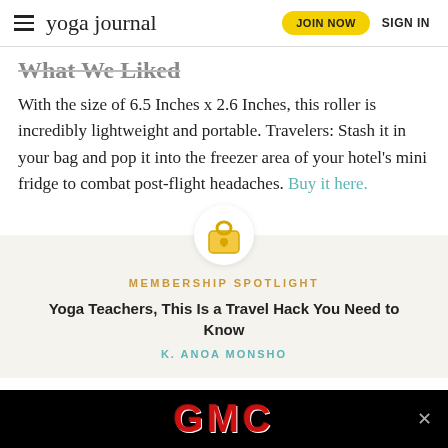yoga journal | JOIN NOW | SIGN IN
What We Liked
With the size of 6.5 Inches x 2.6 Inches, this roller is incredibly lightweight and portable. Travelers: Stash it in your bag and pop it into the freezer area of your hotel's mini fridge to combat post-flight headaches. Buy it here.
[Figure (infographic): Lock icon above a membership spotlight promotional box with yellow-gold text 'MEMBERSHIP SPOTLIGHT', bold title 'Yoga Teachers, This Is a Travel Hack You Need to Know', and teal author credit 'K. ANOA MONSHO']
[Figure (screenshot): GMC advertisement banner in black background with large red GMC logo text and a close button]